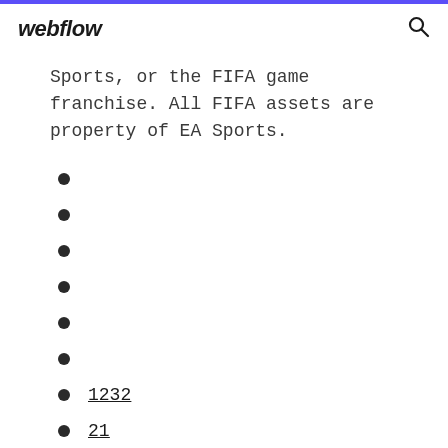webflow
Sports, or the FIFA game franchise. All FIFA assets are property of EA Sports.
1232
21
1706
1803